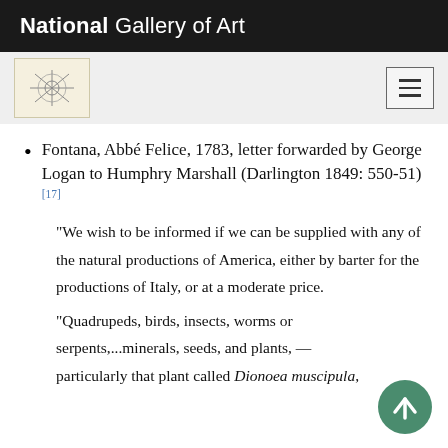National Gallery of Art
Fontana, Abbé Felice, 1783, letter forwarded by George Logan to Humphry Marshall (Darlington 1849: 550-51)[17]
"We wish to be informed if we can be supplied with any of the natural productions of America, either by barter for the productions of Italy, or at a moderate price.
"Quadrupeds, birds, insects, worms or serpents,...minerals, seeds, and plants, — particularly that plant called Dionoea muscipula,